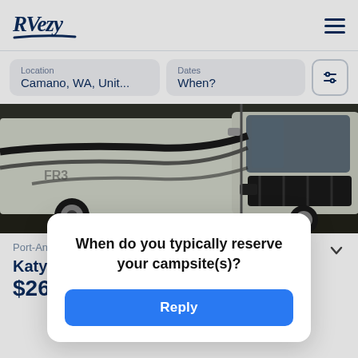[Figure (logo): RVezy logo in dark navy italic serif font with underline swoosh]
[Figure (photo): Photo of a white Class A RV/motorhome with black graphic stripes, shot from the front-left angle showing the windshield and dual headlights]
Location
Camano, WA, Unit...
Dates
When?
Port-Angeles, WA • Class A
Katy's
$26
/Nigh
When do you typically reserve your campsite(s)?
Reply